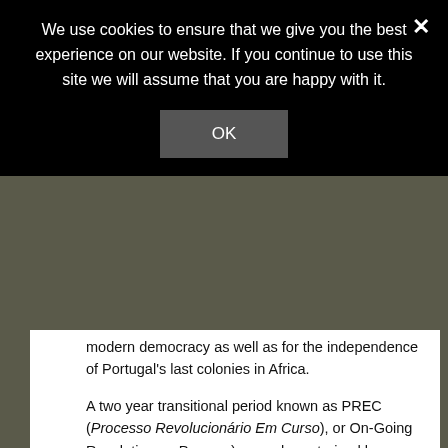We use cookies to ensure that we give you the best experience on our website. If you continue to use this site we will assume that you are happy with it.
OK
modern democracy as well as for the independence of Portugal's last colonies in Africa.
A two year transitional period known as PREC (Processo Revolucionário Em Curso), or On-Going Revolutionary Process), was characterized by social turmoil and power disputes between left- and right-wing political forces.
These events prompted a mass exodus of Portuguese citizens from Portugal's African territories (mostly from Portuguese Angola and Mozambique), creating over a million destitute Portuguese refugees — the retornados.